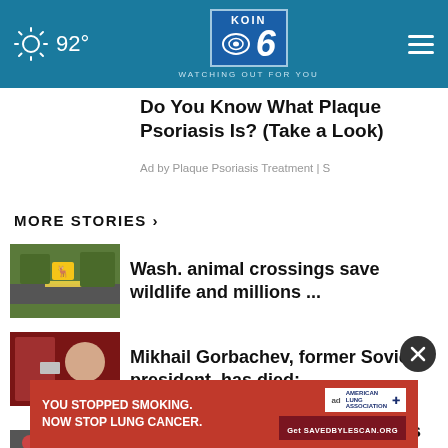KOIN 6 CBS — WATCHING OUT FOR YOU — 92°
Do You Know What Plaque Psoriasis Is? (Take a Look)
Ad by Plaque Psoriasis Treatment | S
MORE STORIES ›
Wash. animal crossings save wildlife and millions ...
Mikhail Gorbachev, former Soviet president, has died: ...
Gubernatorial candidates address Bend shooting
[Figure (screenshot): Red advertisement banner: YOU STOPPED SMOKING. NOW STOP LUNG CANCER. with American Lung Association logo and Get SAVEDBYLESCAN.ORG button]